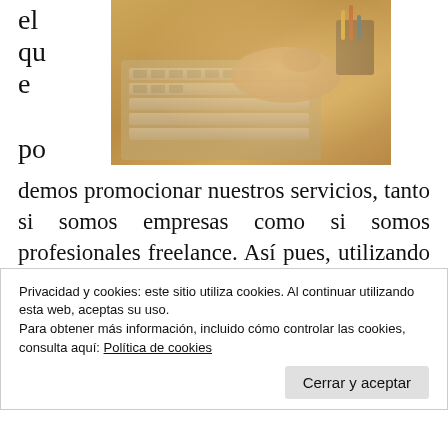el
que
po
[Figure (photo): Photo of a person's hands at a laptop keyboard with a pencil holder in the background, warm toned]
demos promocionar nuestros servicios, tanto si somos empresas como si somos profesionales freelance. Así pues, utilizando las redes sociales podemos incrementar de forma increíble nuestra visibilidad creando así nuevas posibilidades de negocio y nuevas vías de comercialización.
Privacidad y cookies: este sitio utiliza cookies. Al continuar utilizando esta web, aceptas su uso.
Para obtener más información, incluido cómo controlar las cookies, consulta aquí: Política de cookies
Cerrar y aceptar